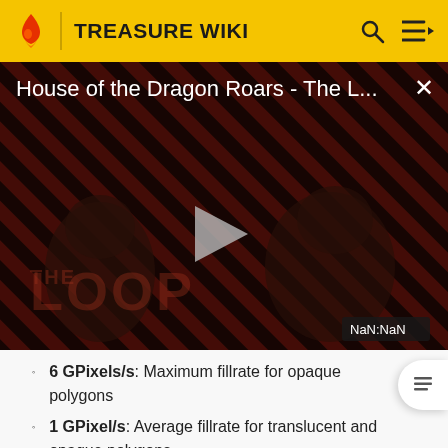TREASURE WIKI
[Figure (screenshot): Video thumbnail for 'House of the Dragon Roars - The L...' with diagonal red/dark stripe pattern background, two dark silhouetted figures, play button in center, 'THE LOOP' text watermark, and NaN:NaN timestamp badge]
6 GPixels/s: Maximum fillrate for opaque polygons
1 GPixel/s: Average fillrate for translucent and opaque polygons
200 MPixels/s: Minimum fillrate for translucent